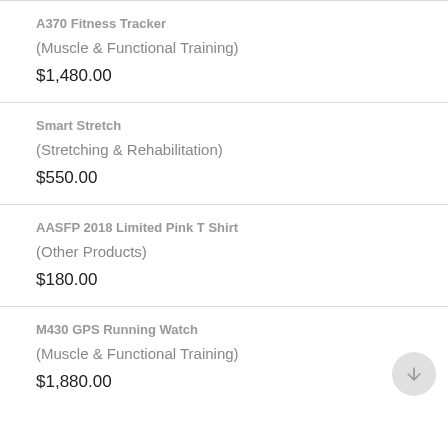A370 Fitness Tracker
(Muscle & Functional Training)
$1,480.00
Smart Stretch
(Stretching & Rehabilitation)
$550.00
AASFP 2018 Limited Pink T Shirt
(Other Products)
$180.00
M430 GPS Running Watch
(Muscle & Functional Training)
$1,880.00